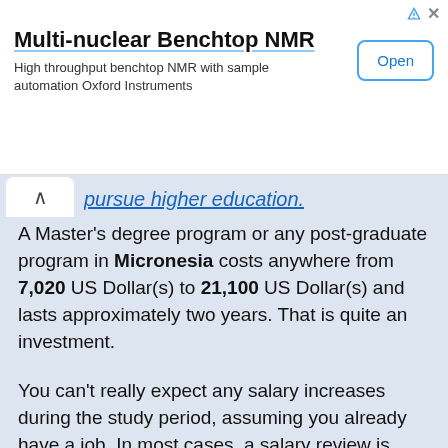[Figure (screenshot): Advertisement banner for Multi-nuclear Benchtop NMR by Oxford Instruments with an Open button]
pursue higher education.
A Master's degree program or any post-graduate program in Micronesia costs anywhere from 7,020 US Dollar(s) to 21,100 US Dollar(s) and lasts approximately two years. That is quite an investment.
You can't really expect any salary increases during the study period, assuming you already have a job. In most cases, a salary review is conducted once education is completed and the degree has been attained.
Many people pursue higher education as a tactic